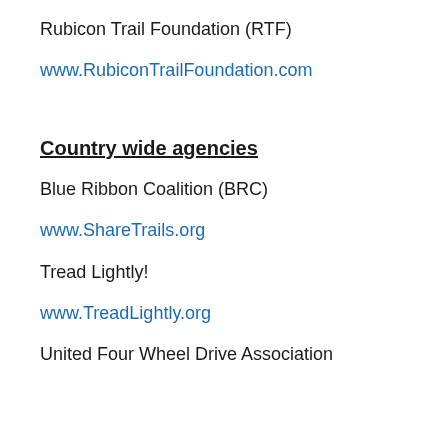Rubicon Trail Foundation (RTF)
www.RubiconTrailFoundation.com
Country wide agencies
Blue Ribbon Coalition (BRC)
www.ShareTrails.org
Tread Lightly!
www.TreadLightly.org
United Four Wheel Drive Association